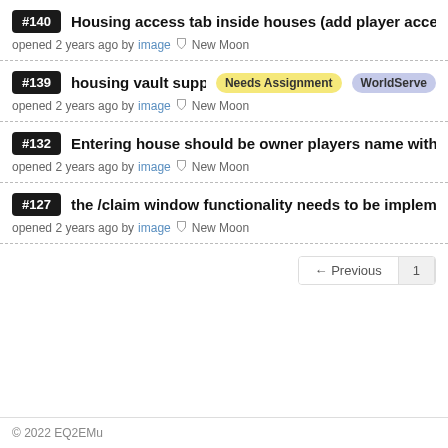#140 Housing access tab inside houses (add player acces... opened 2 years ago by image ⛉ New Moon
#139 housing vault support [Needs Assignment] [WorldServe...] opened 2 years ago by image ⛉ New Moon
#132 Entering house should be owner players name with b... opened 2 years ago by image ⛉ New Moon
#127 the /claim window functionality needs to be impleme... opened 2 years ago by image ⛉ New Moon
© 2022 EQ2EMu